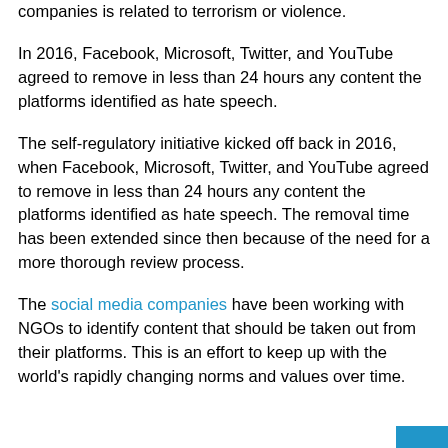The report shows that almost all hate speech removal by these companies is related to terrorism or violence.
In 2016, Facebook, Microsoft, Twitter, and YouTube agreed to remove in less than 24 hours any content the platforms identified as hate speech.
The self-regulatory initiative kicked off back in 2016, when Facebook, Microsoft, Twitter, and YouTube agreed to remove in less than 24 hours any content the platforms identified as hate speech. The removal time has been extended since then because of the need for a more thorough review process.
The social media companies have been working with NGOs to identify content that should be taken out from their platforms. This is an effort to keep up with the world's rapidly changing norms and values over time.